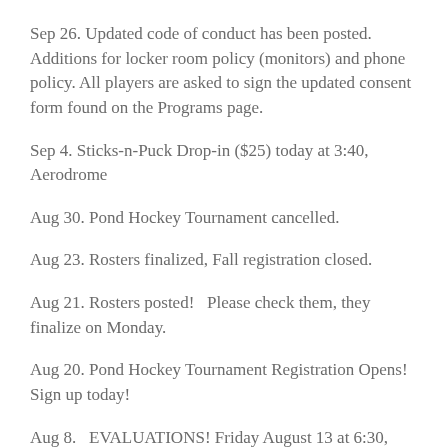Sep 26.  Updated code of conduct has been posted.  Additions for locker room policy (monitors) and phone policy.  All players are asked to sign the updated consent form found on the Programs page.
Sep 4.  Sticks-n-Puck Drop-in ($25) today at 3:40, Aerodrome
Aug 30. Pond Hockey Tournament cancelled.
Aug 23. Rosters finalized, Fall registration closed.
Aug 21. Rosters posted!   Please check them, they finalize on Monday.
Aug 20. Pond Hockey Tournament Registration Opens!  Sign up today!
Aug 8.   EVALUATIONS!  Friday August 13 at 6:30, Bellerive Ice Center.  All ages, local (house) players are required.  San